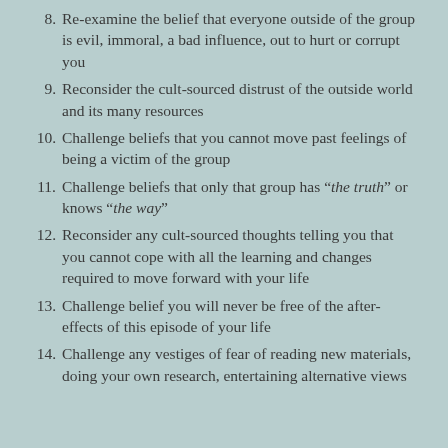8. Re-examine the belief that everyone outside of the group is evil, immoral, a bad influence, out to hurt or corrupt you
9. Reconsider the cult-sourced distrust of the outside world and its many resources
10. Challenge beliefs that you cannot move past feelings of being a victim of the group
11. Challenge beliefs that only that group has "the truth" or knows "the way"
12. Reconsider any cult-sourced thoughts telling you that you cannot cope with all the learning and changes required to move forward with your life
13. Challenge belief you will never be free of the after-effects of this episode of your life
14. Challenge any vestiges of fear of reading new materials, doing your own research, entertaining alternative views